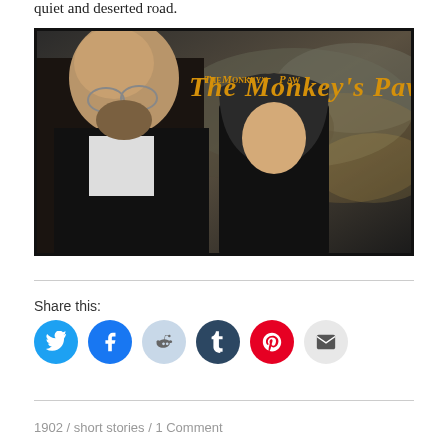quiet and deserted road.
[Figure (photo): Movie poster/still for 'The Monkey's Paw' showing a bald bearded man in a dark suit and a woman in a dark hood, with dramatic cloudy sky. Yellow stylized title text reads 'The Monkey's Paw'.]
Share this:
1902 / short stories / 1 Comment